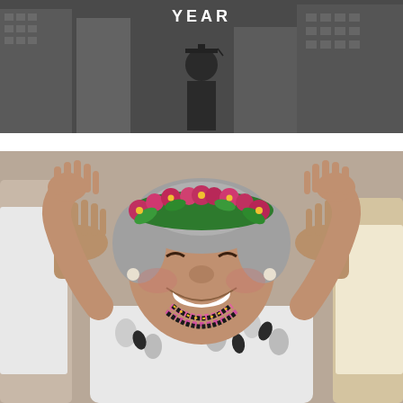[Figure (photo): Top portion: dark/grayscale photo showing a person in academic graduation attire with the word YEAR displayed in white capital letters. Bottom portion: large color photograph of an elderly Pacific Islander woman wearing a floral lei headpiece made of pink flowers and green leaves, smiling joyfully with both hands raised, wearing a black and white floral shirt and colorful bead necklaces.]